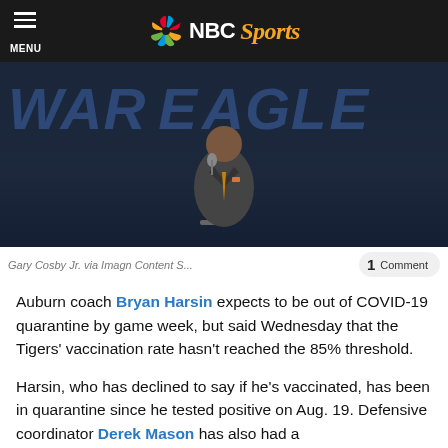NBC Sports
[Figure (photo): Man in gray suit with orange tie standing at a podium with 'War Eagle' text in the background, likely Auburn coach Bryan Harsin at a press conference]
Gary Cosby Jr. via Imagn Content S...
Auburn coach Bryan Harsin expects to be out of COVID-19 quarantine by game week, but said Wednesday that the Tigers' vaccination rate hasn't reached the 85% threshold.
Harsin, who has declined to say if he's vaccinated, has been in quarantine since he tested positive on Aug. 19. Defensive coordinator Derek Mason has also had a [hard time and...] [text cut off]